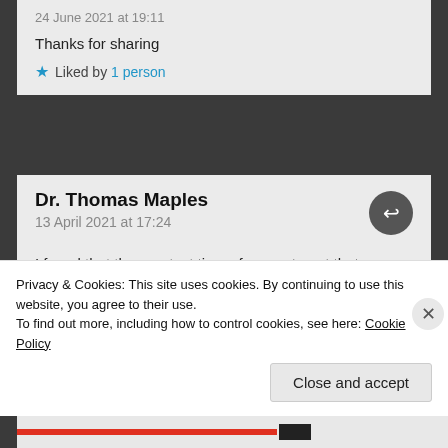24 June 2021 at 19:11
Thanks for sharing
★ Liked by 1 person
Dr. Thomas Maples
13 April 2021 at 17:24
I found that the greatest time of peace to get that daily dose of physical activity in is at 3:30 when
Privacy & Cookies: This site uses cookies. By continuing to use this website, you agree to their use.
To find out more, including how to control cookies, see here: Cookie Policy
Close and accept